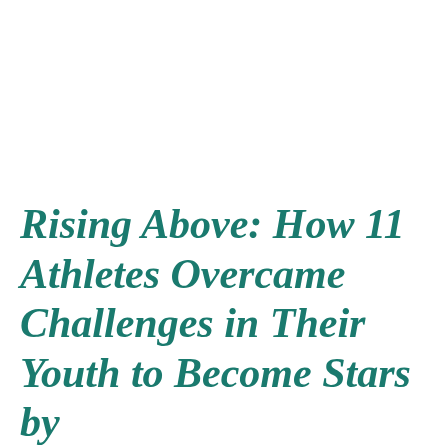Rising Above: How 11 Athletes Overcame Challenges in Their Youth to Become Stars by